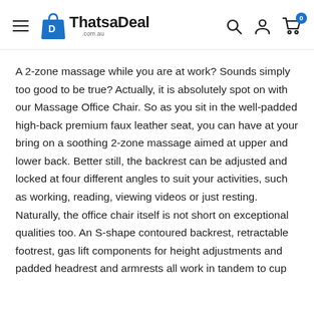ThatsaDeal .com.au
A 2-zone massage while you are at work? Sounds simply too good to be true? Actually, it is absolutely spot on with our Massage Office Chair. So as you sit in the well-padded high-back premium faux leather seat, you can have at your bring on a soothing 2-zone massage aimed at upper and lower back. Better still, the backrest can be adjusted and locked at four different angles to suit your activities, such as working, reading, viewing videos or just resting. Naturally, the office chair itself is not short on exceptional qualities too. An S-shape contoured backrest, retractable footrest, gas lift components for height adjustments and padded headrest and armrests all work in tandem to cup